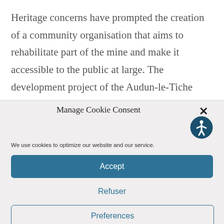Heritage concerns have prompted the creation of a community organisation that aims to rehabilitate part of the mine and make it accessible to the public at large. The development project of the Audun-le-Tiche mine, led by the Communauté de
[Figure (screenshot): Cookie consent modal overlay with title 'Manage Cookie Consent', close button (×), accessibility icon (person in circle), description text 'We use cookies to optimize our website and our service.', Accept button (teal/blue filled), Refuser link (teal text), and Preferences button (teal outline).]